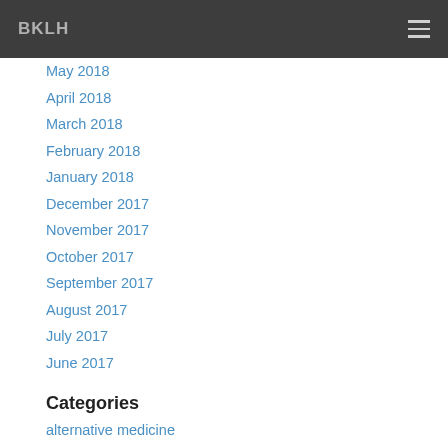BKLH
May 2018
April 2018
March 2018
February 2018
January 2018
December 2017
November 2017
October 2017
September 2017
August 2017
July 2017
June 2017
Categories
alternative medicine